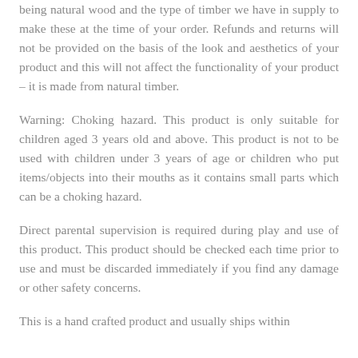being natural wood and the type of timber we have in supply to make these at the time of your order. Refunds and returns will not be provided on the basis of the look and aesthetics of your product and this will not affect the functionality of your product – it is made from natural timber.
Warning: Choking hazard. This product is only suitable for children aged 3 years old and above. This product is not to be used with children under 3 years of age or children who put items/objects into their mouths as it contains small parts which can be a choking hazard.
Direct parental supervision is required during play and use of this product. This product should be checked each time prior to use and must be discarded immediately if you find any damage or other safety concerns.
This is a hand crafted product and usually ships within